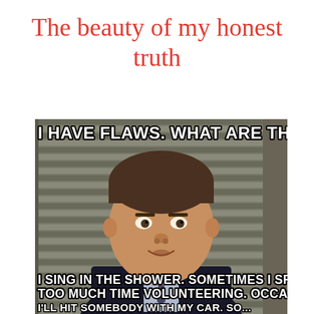The beauty of my honest truth
[Figure (photo): Meme image from The Office TV show featuring Michael Scott sitting in front of window blinds. Top text reads: 'I HAVE FLAWS. WHAT ARE THEY?' Bottom text reads: 'I SING IN THE SHOWER. SOMETIMES I SPEND TOO MUCH TIME VOLUNTEERING. OCCASIONALLY']